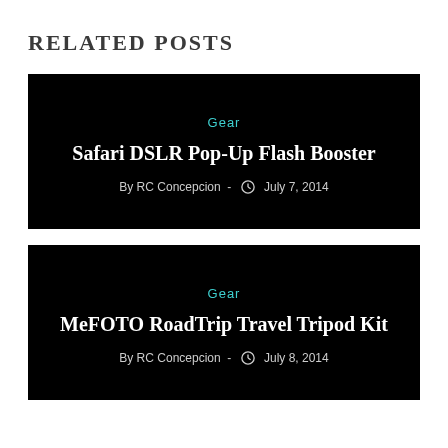RELATED POSTS
[Figure (screenshot): Black card for post: Gear category, title 'Safari DSLR Pop-Up Flash Booster', by RC Concepcion, July 7, 2014]
[Figure (screenshot): Black card for post: Gear category, title 'MeFOTO RoadTrip Travel Tripod Kit', by RC Concepcion, July 8, 2014]